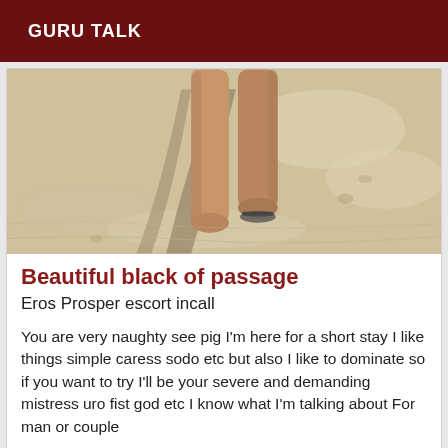GURU TALK
[Figure (photo): Beach photo showing person's legs and feet on sandy beach with shadow]
Beautiful black of passage
Eros Prosper escort incall
You are very naughty see pig I'm here for a short stay I like things simple caress sodo etc but also I like to dominate so if you want to try I'll be your severe and demanding mistress uro fist god etc I know what I'm talking about For man or couple